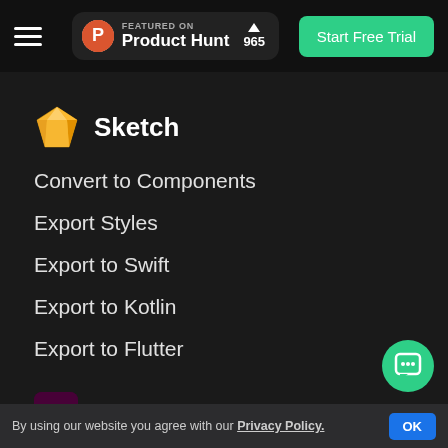FEATURED ON Product Hunt 965 | Start Free Trial
Sketch
Convert to Components
Export Styles
Export to Swift
Export to Kotlin
Export to Flutter
Adobe XD
Convert to Components
By using our website you agree with our Privacy Policy. OK